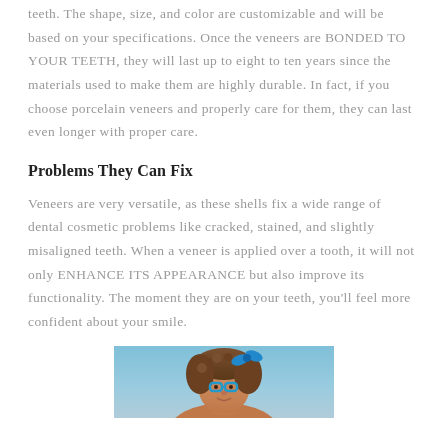teeth. The shape, size, and color are customizable and will be based on your specifications. Once the veneers are BONDED TO YOUR TEETH, they will last up to eight to ten years since the materials used to make them are highly durable. In fact, if you choose porcelain veneers and properly care for them, they can last even longer with proper care.
Problems They Can Fix
Veneers are very versatile, as these shells fix a wide range of dental cosmetic problems like cracked, stained, and slightly misaligned teeth. When a veneer is applied over a tooth, it will not only ENHANCE ITS APPEARANCE but also improve its functionality. The moment they are on your teeth, you'll feel more confident about your smile.
[Figure (photo): Photo of a woman with curly hair and a blue bow/hair accessory, wearing blue-rimmed glasses, against a light blue background]